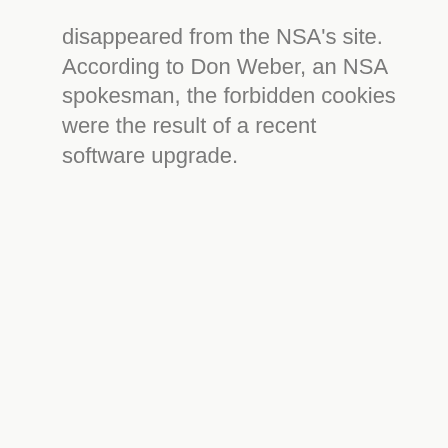disappeared from the NSA's site. According to Don Weber, an NSA spokesman, the forbidden cookies were the result of a recent software upgrade.